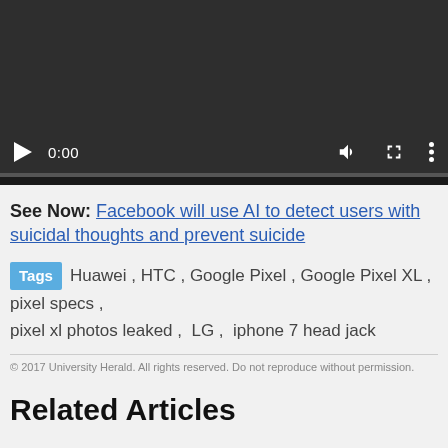[Figure (screenshot): Video player with dark background showing controls: play button, time display 0:00, volume icon, fullscreen icon, more options icon, and a progress bar.]
See Now: Facebook will use AI to detect users with suicidal thoughts and prevent suicide
Tags  Huawei ,  HTC ,  Google Pixel ,  Google Pixel XL ,  pixel specs ,  pixel xl photos leaked ,  LG ,  iphone 7 head jack
© 2017 University Herald. All rights reserved. Do not reproduce without permission.
Related Articles